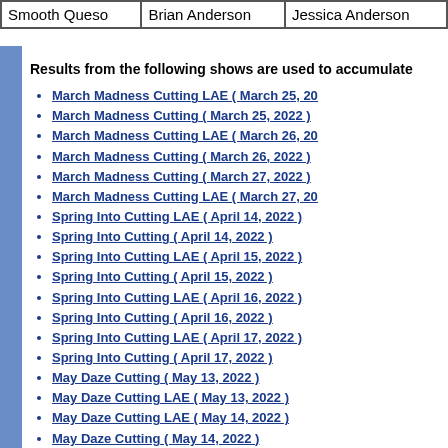| Smooth Queso | Brian Anderson | Jessica Anderson |
| --- | --- | --- |
Results from the following shows are used to accumulate
March Madness Cutting LAE  ( March 25, 20...
March Madness Cutting  ( March 25, 2022 )
March Madness Cutting LAE  ( March 26, 20...
March Madness Cutting  ( March 26, 2022 )
March Madness Cutting  ( March 27, 2022 )
March Madness Cutting LAE  ( March 27, 20...
Spring Into Cutting LAE  ( April 14, 2022 )
Spring Into Cutting  ( April 14, 2022 )
Spring Into Cutting LAE  ( April 15, 2022 )
Spring Into Cutting  ( April 15, 2022 )
Spring Into Cutting LAE  ( April 16, 2022 )
Spring Into Cutting  ( April 16, 2022 )
Spring Into Cutting LAE  ( April 17, 2022 )
Spring Into Cutting  ( April 17, 2022 )
May Daze Cutting  ( May 13, 2022 )
May Daze Cutting LAE  ( May 13, 2022 )
May Daze Cutting LAE  ( May 14, 2022 )
May Daze Cutting  ( May 14, 2022 )
May Daze Cutting LAE  ( May 15, 2022 )
May Daze Cutting  ( May 15, 2022 )
Amateur and Non Pro Extravaganza LAE...